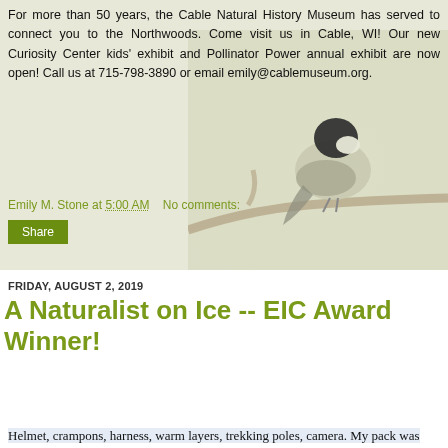For more than 50 years, the Cable Natural History Museum has served to connect you to the Northwoods. Come visit us in Cable, WI! Our new Curiosity Center kids' exhibit and Pollinator Power annual exhibit are now open! Call us at 715-798-3890 or email emily@cablemuseum.org.
[Figure (photo): A small bird (chickadee) perched on a branch, shown from behind, with muted green/beige background]
Emily M. Stone at 5:00 AM    No comments:
Share
FRIDAY, AUGUST 2, 2019
A Naturalist on Ice -- EIC Award Winner!
Special Note: This article from Emily's 2018 summer in Alaska recently won an Excellence in Craft Award from the Outdoor Writers Association of America.
Helmet, crampons, harness, warm layers, trekking poles, camera. My pack was heavier than usual—and my